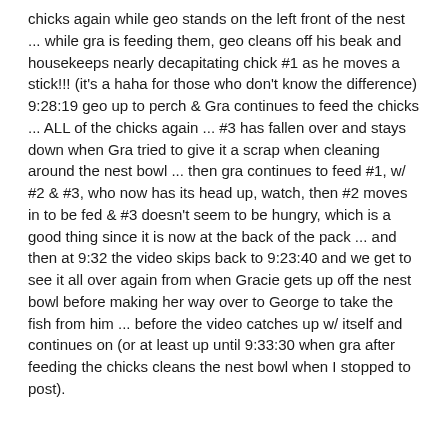chicks again while geo stands on the left front of the nest ... while gra is feeding them, geo cleans off his beak and housekeeps nearly decapitating chick #1 as he moves a stick!!! (it's a haha for those who don't know the difference)
9:28:19 geo up to perch & Gra continues to feed the chicks ... ALL of the chicks again ... #3 has fallen over and stays down when Gra tried to give it a scrap when cleaning around the nest bowl ... then gra continues to feed #1, w/ #2 & #3, who now has its head up, watch, then #2 moves in to be fed & #3 doesn't seem to be hungry, which is a good thing since it is now at the back of the pack ... and then at 9:32 the video skips back to 9:23:40 and we get to see it all over again from when Gracie gets up off the nest bowl before making her way over to George to take the fish from him ... before the video catches up w/ itself and continues on (or at least up until 9:33:30 when gra after feeding the chicks cleans the nest bowl when I stopped to post).